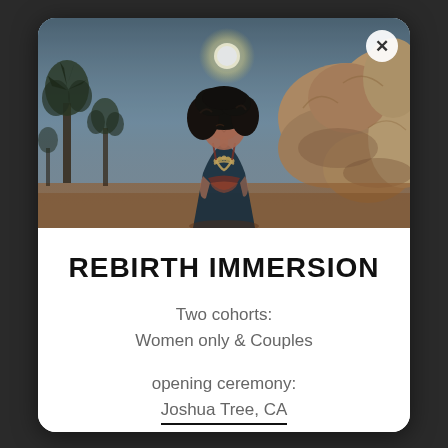[Figure (photo): Woman with dark curly hair wearing a colorful beaded necklace and patterned dress, standing in a desert landscape with Joshua trees, large rocks, and a full moon in the sky at dusk]
REBIRTH IMMERSION
Two cohorts:
Women only & Couples
opening ceremony:
Joshua Tree, CA